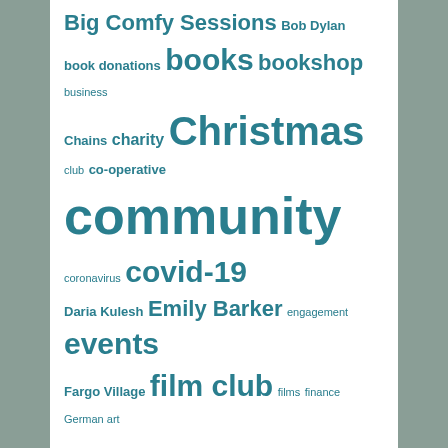[Figure (infographic): Tag cloud with words in varying sizes related to a community bookshop, all in teal color on white background. Terms include: Big Comfy Sessions, Bob Dylan, book donations, books, bookshop, business, Chains, charity, Christmas, club, co-operative, community, coronavirus, covid-19, Daria Kulesh, Emily Barker, engagement, events, Fargo Village, film club, films, finance, German art, here comes everyone, Josh Doyle, Kenilworth, literature, live music, local, lockdown, Michael Burdett, music, music matters, NaNoWriMo, National Gallery, Nick Cave, nick drake, non-profit, novels, open mic, paper&pen, premises, Radio Abbey, reopening, Romany Pie, second-hand books, secondhand, secondhand books, secondhand bookshop, shakespeare, shares, Speak Brother, Strange Face, Strange Face Project, support tree house]